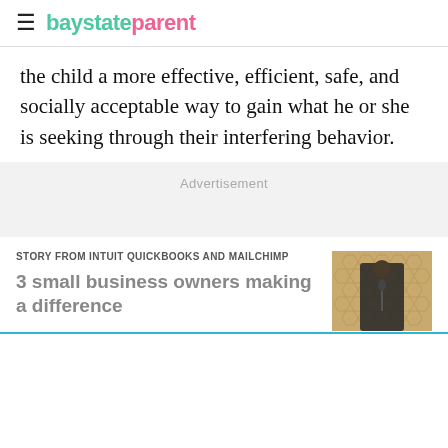baystateparent
the child a more effective, efficient, safe, and socially acceptable way to gain what he or she is seeking through their interfering behavior.
Advertisement
STORY FROM INTUIT QUICKBOOKS AND MAILCHIMP
3 small business owners making a difference
[Figure (photo): A person standing at a podium or keyboard instrument, photographed against a honeycomb-patterned background]